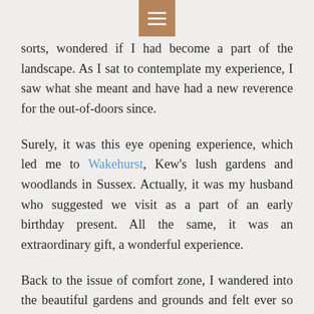[menu icon]
sorts, wondered if I had become a part of the landscape. As I sat to contemplate my experience, I saw what she meant and have had a new reverence for the out-of-doors since.
Surely, it was this eye opening experience, which led me to Wakehurst, Kew's lush gardens and woodlands in Sussex. Actually, it was my husband who suggested we visit as a part of an early birthday present. All the same, it was an extraordinary gift, a wonderful experience.
Back to the issue of comfort zone, I wandered into the beautiful gardens and grounds and felt ever so comfortable with one tree in particular – a striking, sage beauty, though tinier that most around her – and wandered over to have a photograph with it only to find that the sunlight didn't do the picture justice. It was then that I crossed the road and posed